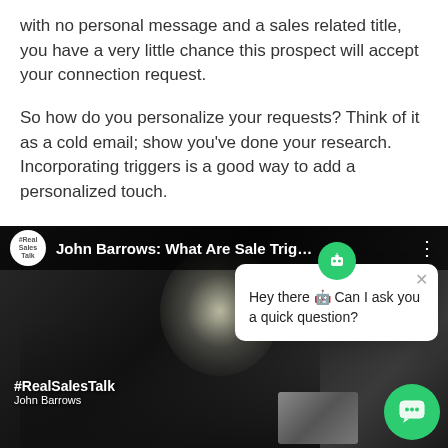with no personal message and a sales related title, you have a very little chance this prospect will accept your connection request.
So how do you personalize your requests? Think of it as a cold email; show you've done your research. Incorporating triggers is a good way to add a personalized touch.
[Figure (screenshot): Screenshot of a video titled 'John Barrows: What Are Sale Trig...' with a man speaking on camera, overlaid by a chatbot popup saying 'Hey there 🤖 Can I ask you a quick question?' with a close button and a green chat button in the corner. A Feedback tab is visible on the right edge.]